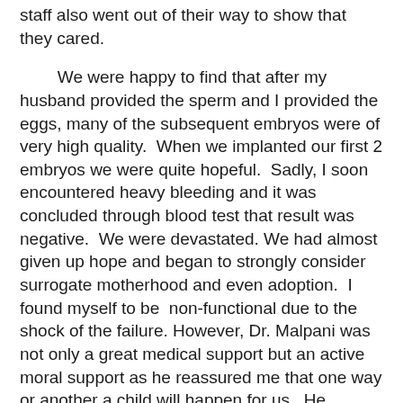staff also went out of their way to show that they cared.
We were happy to find that after my husband provided the sperm and I provided the eggs, many of the subsequent embryos were of very high quality. When we implanted our first 2 embryos we were quite hopeful. Sadly, I soon encountered heavy bleeding and it was concluded through blood test that result was negative. We were devastated. We had almost given up hope and began to strongly consider surrogate motherhood and even adoption. I found myself to be non-functional due to the shock of the failure. However, Dr. Malpani was not only a great medical support but an active moral support as he reassured me that one way or another a child will happen for us. He emphasized that sometimes failures happen before successes in IVF.
Prior to our second attempt with 2 more embryos, my medication was doubled. After the second implantation, I was to remain on the double dosage of medication. I was told to have blood work done the 12th day after implantation. The waiting was brutal and frightening. However, with God's blessing the blood report showed a